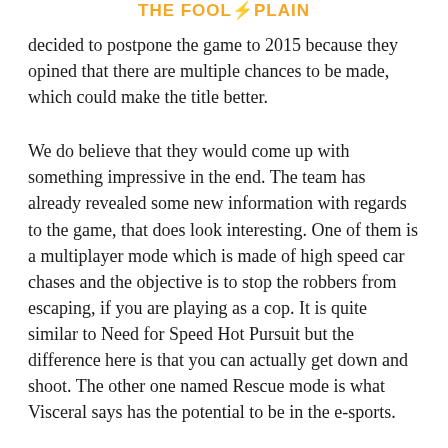THE FOOL SPLAIN
decided to postpone the game to 2015 because they opined that there are multiple chances to be made, which could make the title better.
We do believe that they would come up with something impressive in the end. The team has already revealed some new information with regards to the game, that does look interesting. One of them is a multiplayer mode which is made of high speed car chases and the objective is to stop the robbers from escaping, if you are playing as a cop. It is quite similar to Need for Speed Hot Pursuit but the difference here is that you can actually get down and shoot. The other one named Rescue mode is what Visceral says has the potential to be in the e-sports.
Hotwire Mode